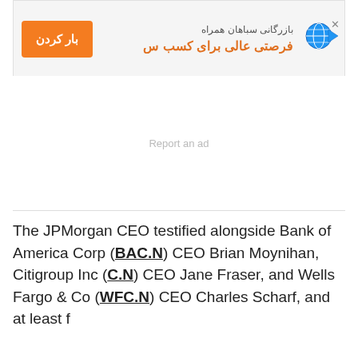[Figure (other): Advertisement banner with orange button labeled 'بار کردن' (Load) and Persian text 'بازرگانی سباهان همراه / فرصتی عالی برای کسب س' with globe and play icon]
Report an ad
The JPMorgan CEO testified alongside Bank of America Corp (BAC.N) CEO Brian Moynihan, Citigroup Inc (C.N) CEO Jane Fraser, and Wells Fargo & Co (WFC.N) CEO Charles Scharf, and at least f...